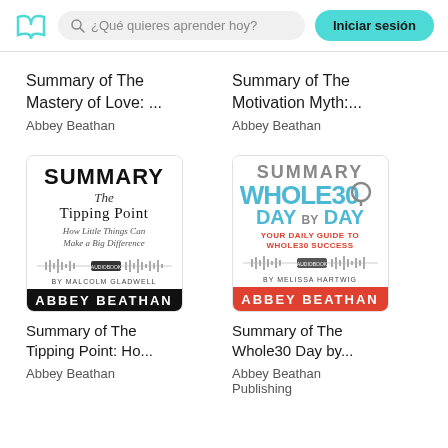¿Qué quieres aprender hoy? | Iniciar sesión
Summary of The Mastery of Love: ...
Abbey Beathan
Summary of The Motivation Myth:...
Abbey Beathan
[Figure (illustration): Book cover for Summary of The Tipping Point: How Little Things Can Make a Big Difference by Malcolm Gladwell, audiobook edition by Abbey Beathan. White background with bold black SUMMARY text, italic The Tipping Point, italic subtitle, audiobook waveform, and Abbey Beathan imprint.]
Summary of The Tipping Point: Ho...
Abbey Beathan
[Figure (illustration): Book cover for Summary of The Whole30 Day by Day: Your Daily Guide to Whole30 Success by Melissa Hartwig, audiobook edition by Abbey Beathan. Features SUMMARY in gray, WHOLE30 in large letters with teal and red, DAY BY DAY in teal, red subtitle band, Abbey Beathan imprint on red bar.]
Summary of The Whole30 Day by...
Abbey Beathan
Publishing